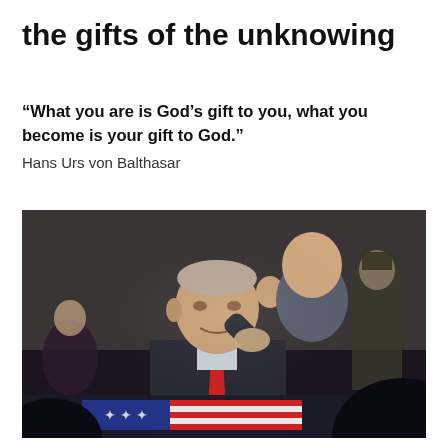the gifts of the unknowing
“What you are is God’s gift to you, what you become is your gift to God.”
Hans Urs von Balthasar
[Figure (photo): An elderly man in a dark suit with a red tie salutes, assisted by a younger bald man behind him, in front of what appears to be a flag-draped casket in an official building interior. Other figures including a military officer are visible in the background.]